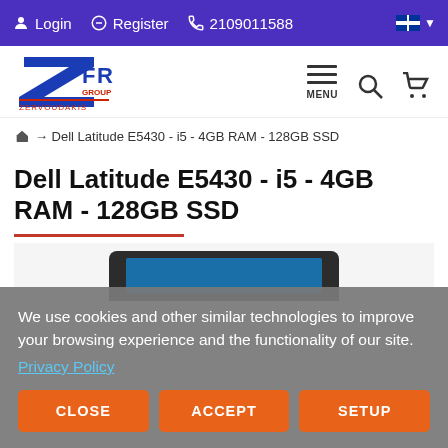Login  Register  2109011588
[Figure (logo): ZFR Group Zervoudakis logo with stylized Z letter in blue and red]
MENU
→ Dell Latitude E5430 - i5 - 4GB RAM - 128GB SSD
Dell Latitude E5430 - i5 - 4GB RAM - 128GB SSD
[Figure (photo): Partial top view of Dell Latitude E5430 laptop with dark casing and blue screen]
We use cookies and other similar technologies to improve your browsing experience and the functionality of our site. Privacy Policy
CLOSE   ACCEPT   SETUP